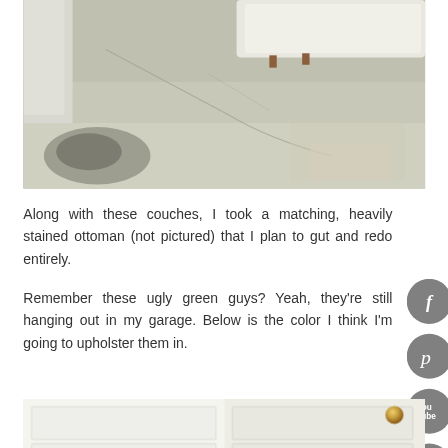[Figure (photo): Photo of a concrete garage floor with a crack running diagonally, with white upholstered furniture (couch and ottoman) visible in the upper portion of the frame.]
Along with these couches, I took a matching, heavily stained ottoman (not pictured) that I plan to gut and redo entirely.
Remember these ugly green guys? Yeah, they're still hanging out in my garage. Below is the color I think I'm going to upholster them in.
[Figure (photo): Photo showing what appears to be white door panels with a gold/brass door knob visible on the right panel.]